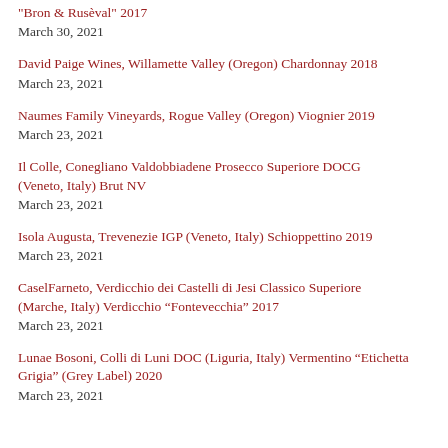"Bron & Rusèval" 2017
March 30, 2021
David Paige Wines, Willamette Valley (Oregon) Chardonnay 2018
March 23, 2021
Naumes Family Vineyards, Rogue Valley (Oregon) Viognier 2019
March 23, 2021
Il Colle, Conegliano Valdobbiadene Prosecco Superiore DOCG (Veneto, Italy) Brut NV
March 23, 2021
Isola Augusta, Trevenezie IGP (Veneto, Italy) Schioppettino 2019
March 23, 2021
CaselFarneto, Verdicchio dei Castelli di Jesi Classico Superiore (Marche, Italy) Verdicchio “Fontevecchia” 2017
March 23, 2021
Lunae Bosoni, Colli di Luni DOC (Liguria, Italy) Vermentino “Etichetta Grigia” (Grey Label) 2020
March 23, 2021